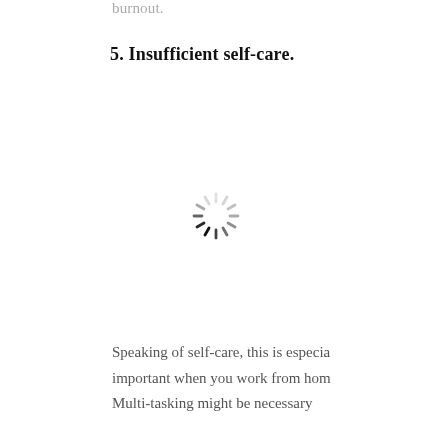burnout.
5. Insufficient self-care.
[Figure (other): A loading spinner icon (spinning wheel/throbber) centered on the page, rendered in dark gray strokes on white background.]
Speaking of self-care, this is especia important when you work from hom Multi-tasking might be necessary